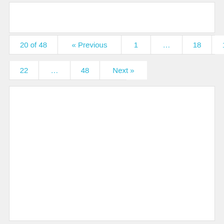20 of 48  « Previous  1  ...  18  19  20  21  22  ...  48  Next »